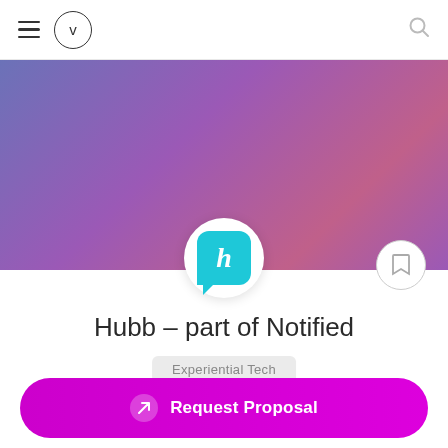Navigation bar with hamburger menu, V circle logo, and search icon
[Figure (illustration): Purple-to-mauve gradient hero banner background]
[Figure (logo): Hubb logo: teal/cyan rounded square with white lowercase h, on white circle]
Hubb - part of Notified
Experiential Tech
Vancouver, WA
Request Proposal